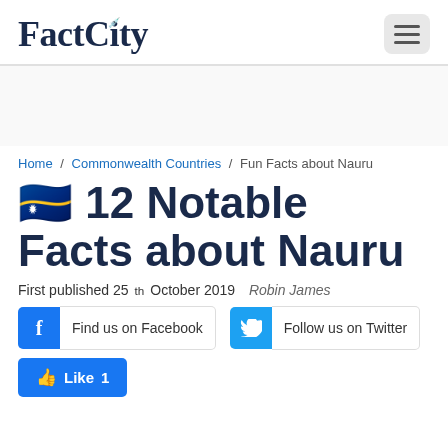FactCity
Home / Commonwealth Countries / Fun Facts about Nauru
🇳🇷 12 Notable Facts about Nauru
First published 25th October 2019  Robin James
Find us on Facebook   Follow us on Twitter
Like 1